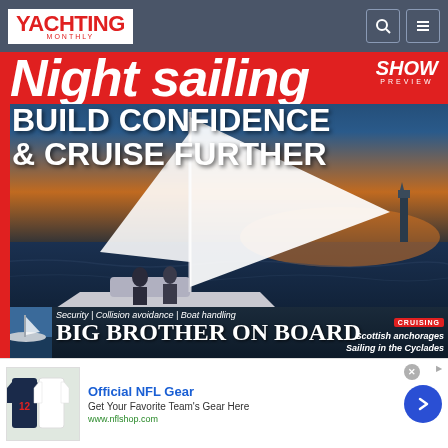YACHTING MONTHLY
[Figure (photo): Yachting Monthly magazine cover screenshot showing a sailboat at night/dusk on the water with sails up, two crew members visible. Headline text overlaid: 'Night Sailing | SHOW PREVIEW | BUILD CONFIDENCE & CRUISE FURTHER | Security | Collision avoidance | Boat handling | BIG BROTHER ON BOARD | CRUISING | Scottish anchorages | Sailing in the Cyclades']
[Figure (illustration): Advertisement banner at bottom: Official NFL Gear - Get Your Favorite Team's Gear Here - www.nflshop.com, with thumbnail of NFL jerseys on left and blue arrow button on right]